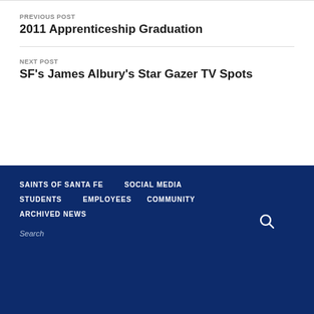PREVIOUS POST
2011 Apprenticeship Graduation
NEXT POST
SF's James Albury's Star Gazer TV Spots
SAINTS OF SANTA FE
SOCIAL MEDIA
STUDENTS
EMPLOYEES
COMMUNITY
ARCHIVED NEWS
Search